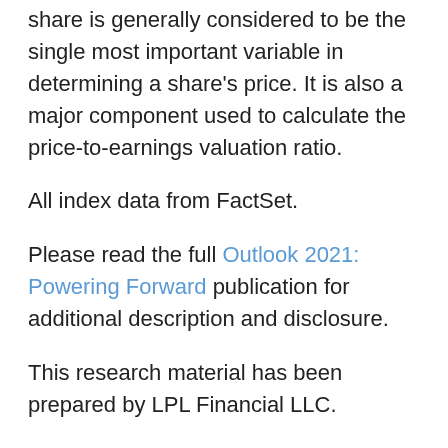share is generally considered to be the single most important variable in determining a share's price. It is also a major component used to calculate the price-to-earnings valuation ratio.
All index data from FactSet.
Please read the full Outlook 2021: Powering Forward publication for additional description and disclosure.
This research material has been prepared by LPL Financial LLC.
Securities and advisory services